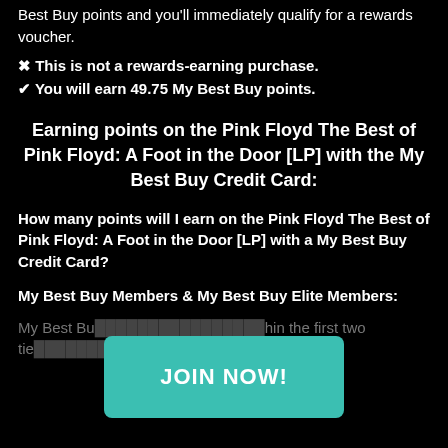Best Buy points and you'll immediately qualify for a rewards voucher.
✖ This is not a rewards-earning purchase.
✔ You will earn 49.75 My Best Buy points.
Earning points on the Pink Floyd The Best of Pink Floyd: A Foot in the Door [LP] with the My Best Buy Credit Card:
How many points will I earn on the Pink Floyd The Best of Pink Floyd: A Foot in the Door [LP] with a My Best Buy Credit Card?
My Best Buy Members & My Best Buy Elite Members:
My Best Bu... hin the first two tie... ards
[Figure (other): JOIN NOW! button — teal/turquoise rounded rectangle overlay button]